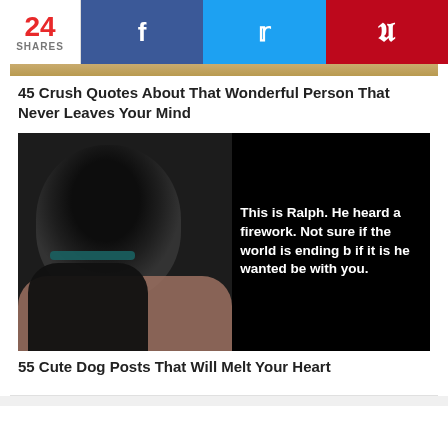24 SHARES | Facebook | Twitter | Pinterest
45 Crush Quotes About That Wonderful Person That Never Leaves Your Mind
[Figure (photo): A black Labrador dog looking up at camera on the left half, and a black panel on the right with bold white text: 'This is Ralph. He heard a firework. Not sure if the world is ending b if it is he wanted be with you.']
55 Cute Dog Posts That Will Melt Your Heart